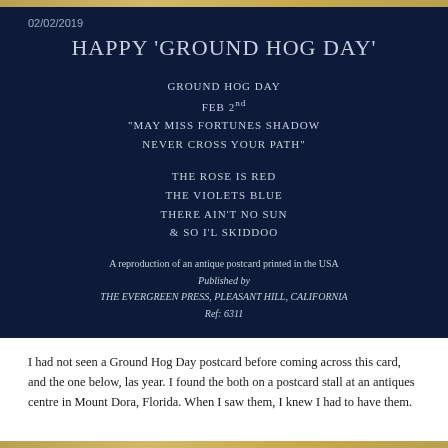02/02/2019
HAPPY 'GROUND HOG DAY'
GROUND HOG DAY
FEB 2nd
"MAY MISS FORTUNES SHADOW
NEVER CROSS YOUR PATH"
THE ROSE IS RED
THE VIOLETS BLUE
THERE AIN'T NO SUN
& SO I'L SKIDDOO
A reproduction of an antique postcard printed in the USA
Published by
THE EVERGREEN PRESS, PLEASANT HILL, CALIFORNIA
Ref: 6311
I had not seen a Ground Hog Day postcard before coming across this card, and the one below, las year. I found the both on a postcard stall at an antiques centre in Mount Dora, Florida. When I saw them, I knew I had to have them.